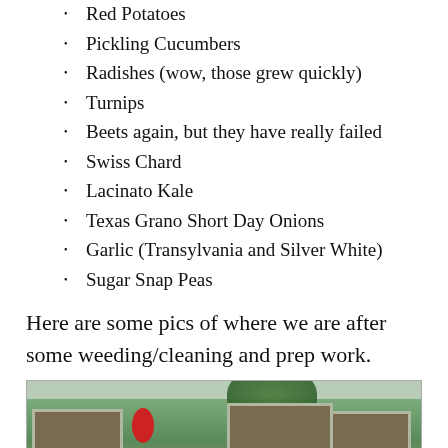Red Potatoes
Pickling Cucumbers
Radishes (wow, those grew quickly)
Turnips
Beets again, but they have really failed
Swiss Chard
Lacinato Kale
Texas Grano Short Day Onions
Garlic (Transylvania and Silver White)
Sugar Snap Peas
Here are some pics of where we are after some weeding/cleaning and prep work.
[Figure (photo): Garden photo showing raised garden beds with plants, a wooden fence in the background, and a garden sign.]